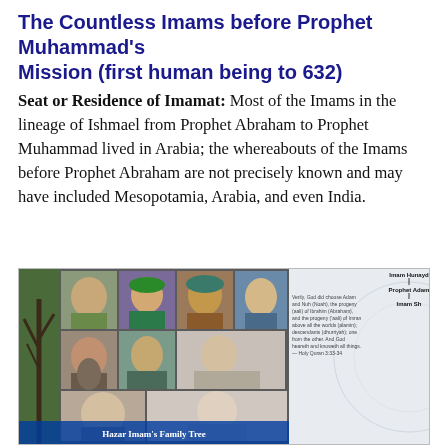The Countless Imams before Prophet Muhammad's Mission (first human being to 632)
Seat or Residence of Imamat: Most of the Imams in the lineage of Ishmael from Prophet Abraham to Prophet Muhammad lived in Arabia; the whereabouts of the Imams before Prophet Abraham are not precisely known and may have included Mesopotamia, Arabia, and even India.
[Figure (photo): Left: Photo collage of multiple Imams/religious figures arranged in a 3x3 grid with a tree silhouette on the left side. Caption reads 'Hazar Imam's Family Tree'. Right: A genealogical family tree diagram showing lineage from Imam Hunayd through Prophet Adam, Imam Shith (Seth), Prophet Nuh (Noah), Imam Sam (Shem), Prophet Ibrahim (Abraham), Imam Ismaz, Prophet Ishaq (Isaac), Prophet Isa (Jesus), Imam Abd al-Muttalib, Hazrat Abdullah, Imam Abu Talib (Imran), Prophet Muhammad, Hazrat Fatimah, 1. Imam Ali b. Abi Talib, 2. Imam al-Husayn, 49. Imam Shah Karim al-Husayni. With a Quranic quote on the left side.]